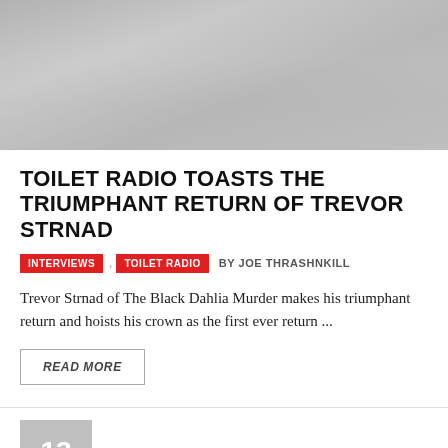[Figure (photo): Photo of Trevor Strnad of The Black Dahlia Murder, appearing to shout or sing, wearing a black jacket with patches. Image is partially cropped and desaturated/muted.]
TOILET RADIO TOASTS THE TRIUMPHANT RETURN OF TREVOR STRNAD
INTERVIEWS , TOILET RADIO BY JOE THRASHNKILL
Trevor Strnad of The Black Dahlia Murder makes his triumphant return and hoists his crown as the first ever return ...
READ MORE
13 SEP